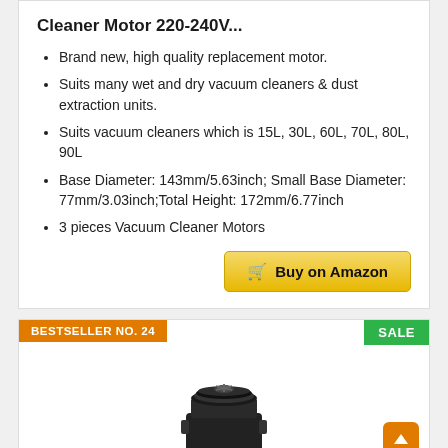Cleaner Motor 220-240V...
Brand new, high quality replacement motor.
Suits many wet and dry vacuum cleaners & dust extraction units.
Suits vacuum cleaners which is 15L, 30L, 60L, 70L, 80L, 90L
Base Diameter: 143mm/5.63inch; Small Base Diameter: 77mm/3.03inch;Total Height: 172mm/6.77inch
3 pieces Vacuum Cleaner Motors
Buy on Amazon
BESTSELLER NO. 24
SALE
[Figure (photo): Black vacuum cleaner motor product photo]